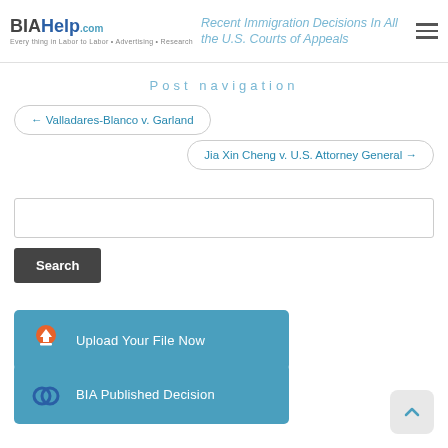BIAHelp.com — Recent Immigration Decisions In All the U.S. Courts of Appeals
Post navigation
← Valladares-Blanco v. Garland
Jia Xin Cheng v. U.S. Attorney General →
Search
[Figure (infographic): Upload Your File Now button (blue)]
[Figure (infographic): BIA Published Decision button (blue)]